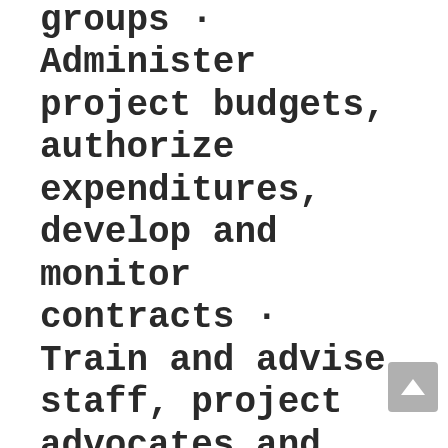groups · Administer project budgets, authorize expenditures, develop and monitor contracts · Train and advise staff, project advocates and program participants · Plan, facilitate and conduct meetings · Measure, evaluate and communicate project performance · Identify decision-making issues and key stakeholders, develop and implement